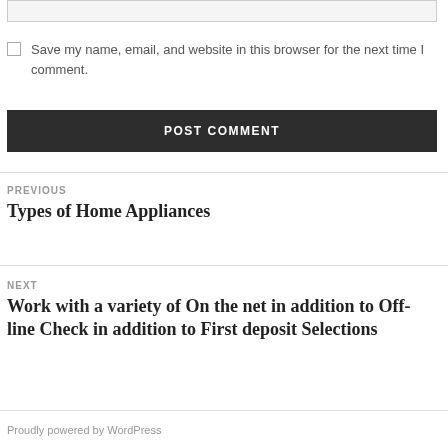Save my name, email, and website in this browser for the next time I comment.
POST COMMENT
PREVIOUS
Types of Home Appliances
NEXT
Work with a variety of On the net in addition to Off-line Check in addition to First deposit Selections
Proudly powered by WordPress